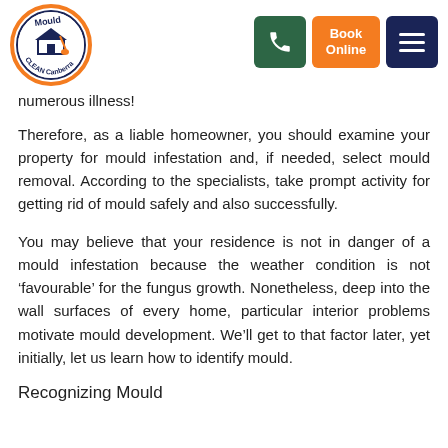[Figure (logo): Mould Clean Canberra circular logo with orange and navy border, house and broom icon in center]
Book Online | phone button | menu button
numerous illness!
Therefore, as a liable homeowner, you should examine your property for mould infestation and, if needed, select mould removal. According to the specialists, take prompt activity for getting rid of mould safely and also successfully.
You may believe that your residence is not in danger of a mould infestation because the weather condition is not ‘favourable’ for the fungus growth. Nonetheless, deep into the wall surfaces of every home, particular interior problems motivate mould development. We’ll get to that factor later, yet initially, let us learn how to identify mould.
Recognizing Mould